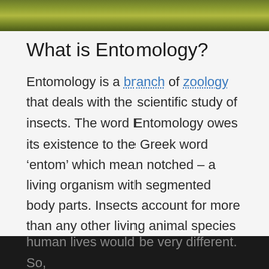[Figure (photo): Olive green gradient banner/header image at the top of the page]
What is Entomology?
Entomology is a branch of zoology that deals with the scientific study of insects. The word Entomology owes its existence to the Greek word ‘entom’ which mean notched – a living organism with segmented body parts. Insects account for more than any other living animal species combined and they are a crucial part of forest biodiversity. Insects are everywhere and they come in different shapes, sizes and colors which allows them to adapt to almost every habitat they live in. They play a fundamental role in the food chain. Without insects, human lives would be very different. So,